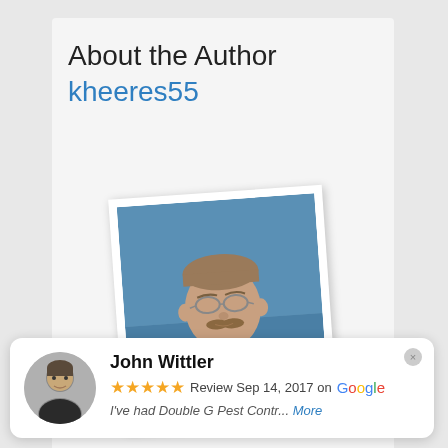About the Author
kheeres55
[Figure (photo): Professional headshot of a middle-aged man with glasses and a mustache, wearing a dark suit, against a blue background. Photo is displayed at a slight rotation with a white border.]
John Wittler
★★★★★ Review Sep 14, 2017 on Google
I've had Double G Pest Contr... More